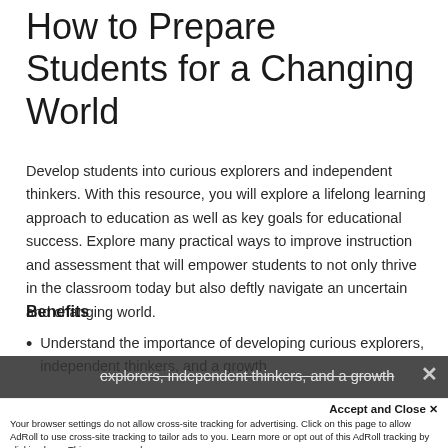How to Prepare Students for a Changing World
Develop students into curious explorers and independent thinkers. With this resource, you will explore a lifelong learning approach to education as well as key goals for educational success. Explore many practical ways to improve instruction and assessment that will empower students to not only thrive in the classroom today but also deftly navigate an uncertain and changing world.
Benefits
Understand the importance of developing curious explorers, independent thinkers, and a growth
Accept and Close ✕
Your browser settings do not allow cross-site tracking for advertising. Click on this page to allow AdRoll to use cross-site tracking to tailor ads to you. Learn more or opt out of this AdRoll tracking by clicking here. This message only appears once.